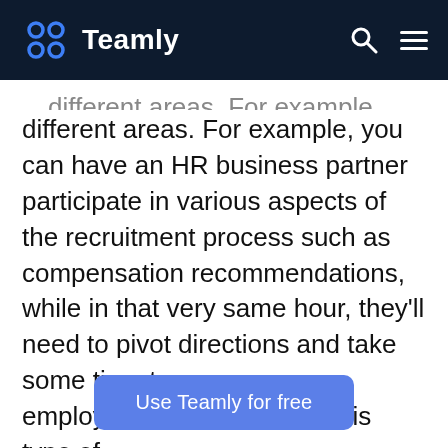Teamly
different areas. For example, you can have an HR business partner participate in various aspects of the recruitment process such as compensation recommendations, while in that very same hour, they'll need to pivot directions and take some time to manage an employee relations issue. This type of
Use Teamly for free